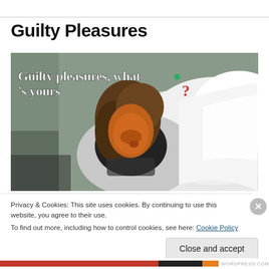Guilty Pleasures
[Figure (illustration): Illustrated image of a woman lying in bed looking at a phone or tablet under white covers, with orange/red lighting on her face. Text overlay reads: 'Guilty pleasures, what's yours?' with a green dot accent and a red question mark.]
Privacy & Cookies: This site uses cookies. By continuing to use this website, you agree to their use.
To find out more, including how to control cookies, see here: Cookie Policy
Close and accept